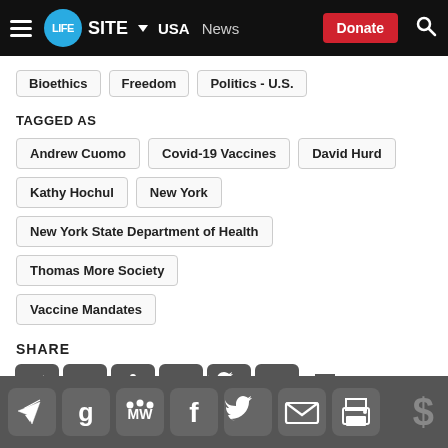LifeSite News – USA News – Donate
Bioethics
Freedom
Politics - U.S.
TAGGED AS
Andrew Cuomo
Covid-19 Vaccines
David Hurd
Kathy Hochul
New York
New York State Department of Health
Thomas More Society
Vaccine Mandates
SHARE
[Figure (infographic): Share icons: Telegram, Gettr, MeWe, Facebook, Twitter, Email, Print]
Bottom bar with share icons and donate dollar sign